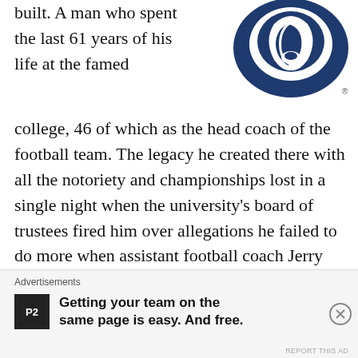[Figure (logo): Penn State Nittany Lions logo — navy blue lion head on white background with registered trademark symbol]
built. A man who spent the last 61 years of his life at the famed college, 46 of which as the head coach of the football team. The legacy he created there with all the notoriety and championships lost in a single night when the university's board of trustees fired him over allegations he failed to do more when assistant football coach Jerry Sandusky was molesting young boys on campus over a period of years.
It will be the first time in more than half a
Advertisements
Getting your team on the same page is easy. And free.